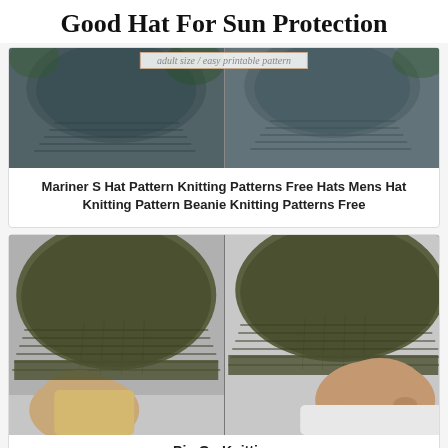Good Hat For Sun Protection
[Figure (photo): Two side-by-side photos of knitted navy/dark blue beanies. A label overlay reads 'adult size / easy printable pattern'.]
Mariner S Hat Pattern Knitting Patterns Free Hats Mens Hat Knitting Pattern Beanie Knitting Patterns Free
[Figure (photo): Two side-by-side photos of a woman and a man each wearing an olive/dark green ribbed knit beanie hat.]
Pin On Knitting